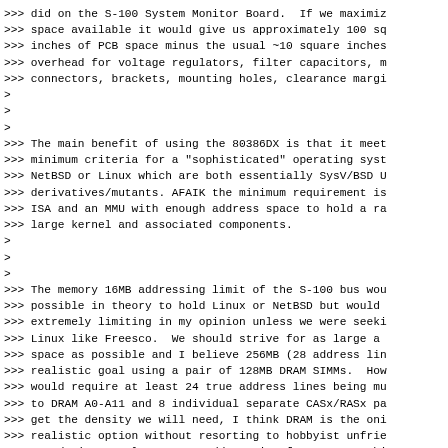>>> did on the S-100 System Monitor Board.  If we maximi
>>> space available it would give us approximately 100 s
>>> inches of PCB space minus the usual ~10 square inches
>>> overhead for voltage regulators, filter capacitors, n
>>> connectors, brackets, mounting holes, clearance margi
>
>
>
>>> The main benefit of using the 80386DX is that it mee
>>> minimum criteria for a "sophisticated" operating syst
>>> NetBSD or Linux which are both essentially SysV/BSD U
>>> derivatives/mutants. AFAIK the minimum requirement is
>>> ISA and an MMU with enough address space to hold a ra
>>> large kernel and associated components.
>
>
>
>>> The memory 16MB addressing limit of the S-100 bus wou
>>> possible in theory to hold Linux or NetBSD but would
>>> extremely limiting in my opinion unless we were seeki
>>> Linux like Freesco.  We should strive for as large a
>>> space as possible and I believe 256MB (28 address lin
>>> realistic goal using a pair of 128MB DRAM SIMMs.  How
>>> would require at least 24 true address lines being mu
>>> to DRAM A0-A11 and 8 individual separate CASx/RASx pa
>>> get the density we will need, I think DRAM is the oni
>>> realistic option without resorting to hobbyist unfrie
>>> SMT devices.  Also we can add a pair of 27C1024 16-bi
>>> for a full 32 bit data path to the boot ROMs.
>